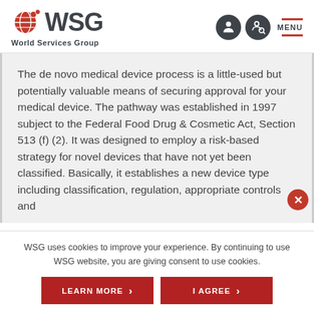WSG World Services Group
The de novo medical device process is a little-used but potentially valuable means of securing approval for your medical device. The pathway was established in 1997 subject to the Federal Food Drug & Cosmetic Act, Section 513 (f) (2). It was designed to employ a risk-based strategy for novel devices that have not yet been classified. Basically, it establishes a new device type including classification, regulation, appropriate controls and
WSG uses cookies to improve your experience. By continuing to use WSG website, you are giving consent to use cookies.
LEARN MORE
I AGREE